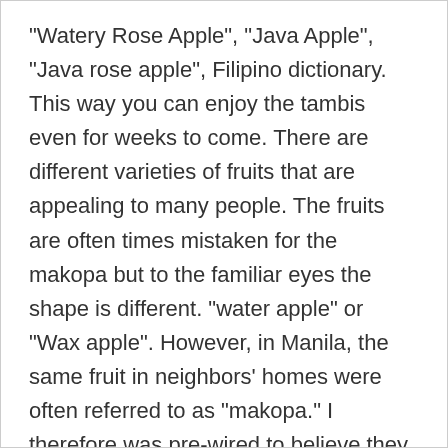"Watery Rose Apple", "Java Apple", "Java rose apple", Filipino dictionary. This way you can enjoy the tambis even for weeks to come. There are different varieties of fruits that are appealing to many people. The fruits are often times mistaken for the makopa but to the familiar eyes the shape is different. "water apple" or "Wax apple". However, in Manila, the same fruit in neighbors’ homes were often referred to as “makopa.” I therefore was pre-wired to believe they were one and the same fruit. If you want to make the most of this fruit, you’ll need to know how to best store the tambis fruit: The tambis fruit has such a pleasant and familiar taste closely resembling apples, as well as a comforting watery content such as that of the watermelon, that it’s very easy and rewarding to consume as is, raw. tambis in english. Eugenia javanica) is a species in the Myrtaceae,